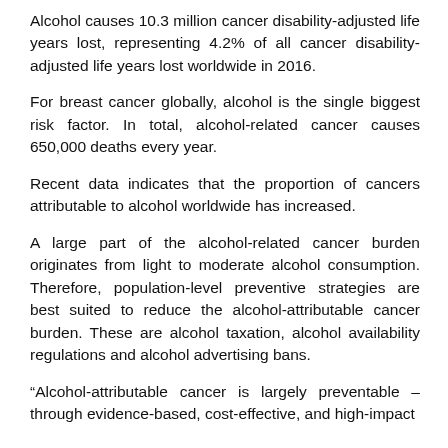Alcohol causes 10.3 million cancer disability-adjusted life years lost, representing 4.2% of all cancer disability-adjusted life years lost worldwide in 2016.
For breast cancer globally, alcohol is the single biggest risk factor. In total, alcohol-related cancer causes 650,000 deaths every year.
Recent data indicates that the proportion of cancers attributable to alcohol worldwide has increased.
A large part of the alcohol-related cancer burden originates from light to moderate alcohol consumption. Therefore, population-level preventive strategies are best suited to reduce the alcohol-attributable cancer burden. These are alcohol taxation, alcohol availability regulations and alcohol advertising bans.
“Alcohol-attributable cancer is largely preventable – through evidence-based, cost-effective, and high-impact